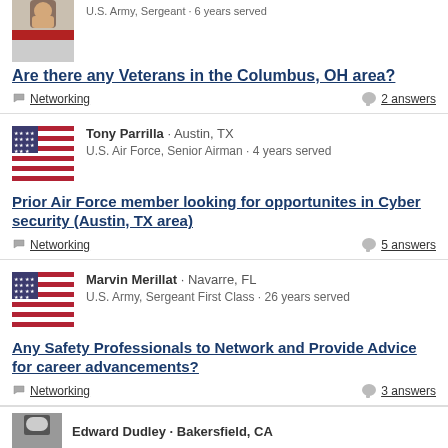[Figure (photo): Partial view of male avatar photo (top cropped)]
U.S. Army, Sergeant · 6 years served
Are there any Veterans in the Columbus, OH area?
Networking   2 answers
[Figure (photo): US flag avatar for Tony Parrilla]
Tony Parrilla · Austin, TX
U.S. Air Force, Senior Airman · 4 years served
Prior Air Force member looking for opportunites in Cyber security (Austin, TX area)
Networking   5 answers
[Figure (photo): US flag avatar for Marvin Merillat]
Marvin Merillat · Navarre, FL
U.S. Army, Sergeant First Class · 26 years served
Any Safety Professionals to Network and Provide Advice for career advancements?
Networking   3 answers
Edward Dudley · Bakersfield, CA